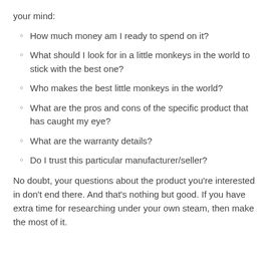your mind:
How much money am I ready to spend on it?
What should I look for in a little monkeys in the world to stick with the best one?
Who makes the best little monkeys in the world?
What are the pros and cons of the specific product that has caught my eye?
What are the warranty details?
Do I trust this particular manufacturer/seller?
No doubt, your questions about the product you’re interested in don’t end there. And that’s nothing but good. If you have extra time for researching under your own steam, then make the most of it.